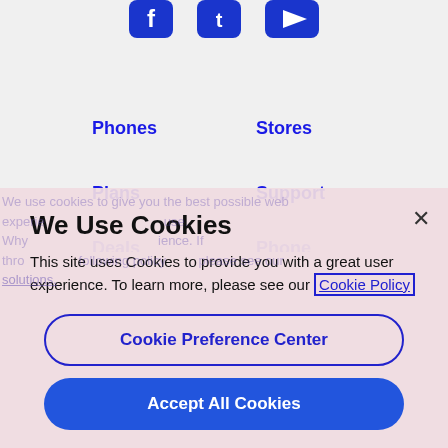[Figure (illustration): Social media icons (Facebook, Twitter, YouTube) in blue at top of page, partially cropped]
Phones
Stores
Plans
Support
Deals (partially visible)
Phone Accessories (partially visible)
We Use Cookies
This site uses Cookies to provide you with a great user experience. To learn more, please see our Cookie Policy
Cookie Preference Center
Accept All Cookies